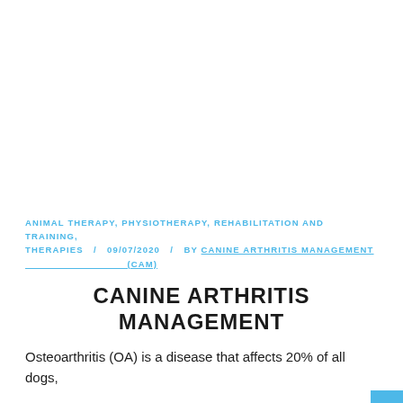[Figure (photo): Large white/blank image area at top of page]
ANIMAL THERAPY, PHYSIOTHERAPY, REHABILITATION AND TRAINING, THERAPIES / 09/07/2020 / BY CANINE ARTHRITIS MANAGEMENT (CAM)
CANINE ARTHRITIS MANAGEMENT
Osteoarthritis (OA) is a disease that affects 20% of all dogs,